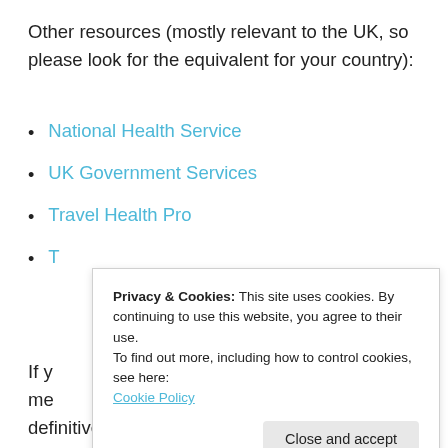Other resources (mostly relevant to the UK, so please look for the equivalent for your country):
National Health Service
UK Government Services
Travel Health Pro
T[obscured by popup]
Privacy & Cookies: This site uses cookies. By continuing to use this website, you agree to their use.
To find out more, including how to control cookies, see here:
Cookie Policy
If y[...] me[...] definitive plans or payments towards your Nigerian elective.